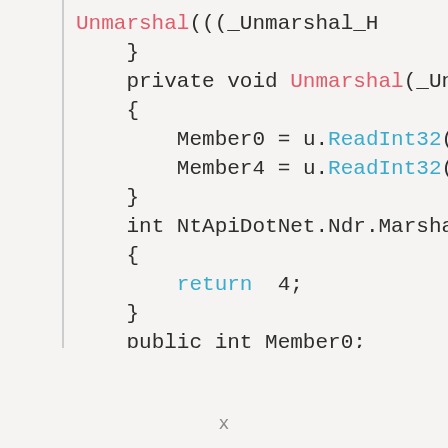[Figure (screenshot): Code snippet showing C# class members with methods: Unmarshal(((_Unmarshal_H..., private void Unmarshal(_Unma..., Member0 = u.ReadInt32();, Member4 = u.ReadInt32();, int NtApiDotNet.Ndr.Marshal..., return 4;, public int Member0;, public int Member4;, public static Struct_0 Creat...]